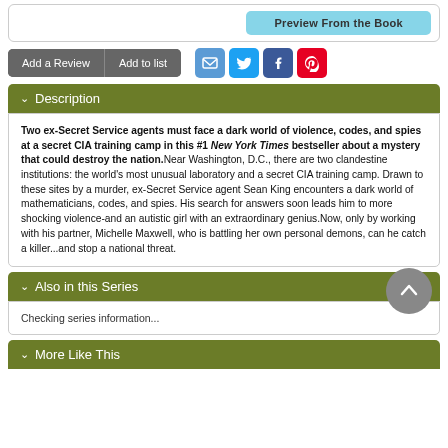[Figure (screenshot): Preview From the Book button area at top]
[Figure (screenshot): Action buttons row: Add a Review, Add to list, and social sharing icons (email, Twitter, Facebook, Pinterest)]
Description
Two ex-Secret Service agents must face a dark world of violence, codes, and spies at a secret CIA training camp in this #1 New York Times bestseller about a mystery that could destroy the nation.Near Washington, D.C., there are two clandestine institutions: the world's most unusual laboratory and a secret CIA training camp. Drawn to these sites by a murder, ex-Secret Service agent Sean King encounters a dark world of mathematicians, codes, and spies. His search for answers soon leads him to more shocking violence-and an autistic girl with an extraordinary genius.Now, only by working with his partner, Michelle Maxwell, who is battling her own personal demons, can he catch a killer...and stop a national threat.
Also in this Series
Checking series information...
More Like This